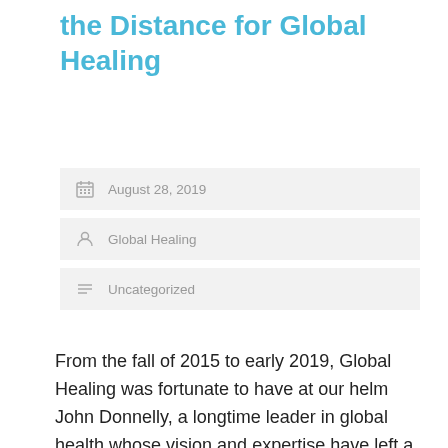the Distance for Global Healing
August 28, 2019
Global Healing
Uncategorized
From the fall of 2015 to early 2019, Global Healing was fortunate to have at our helm John Donnelly, a longtime leader in global health whose vision and expertise have left a lasting impact on our organization. As Donnelly begins his well-earned retirement, we want to take a moment to thank him for his inspiring